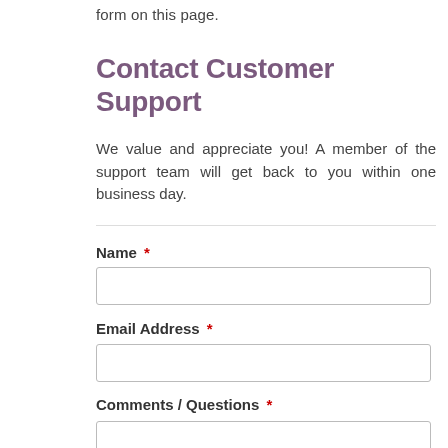form on this page.
Contact Customer Support
We value and appreciate you! A member of the support team will get back to you within one business day.
Name *
Email Address *
Comments / Questions *